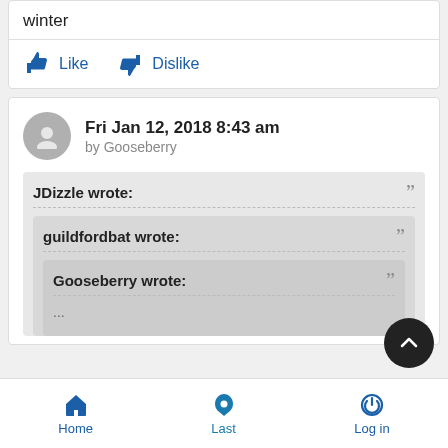winter
Like   Dislike
Fri Jan 12, 2018 8:43 am
by Gooseberry
JDizzle wrote:
guildfordbat wrote:
Gooseberry wrote:
...
Home   Last   Log in